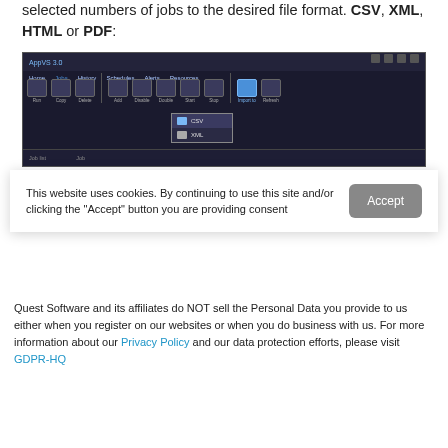selected numbers of jobs to the desired file format. CSV, XML, HTML or PDF:
[Figure (screenshot): Screenshot of a dark-themed scheduler application UI toolbar showing icons for Run, Copy, Delete, Add, Disable, Double, Start, Stop, Import To, Refresh. A dropdown menu is visible from 'Import To' showing CSV and XML options.]
This website uses cookies. By continuing to use this site and/or clicking the "Accept" button you are providing consent
Quest Software and its affiliates do NOT sell the Personal Data you provide to us either when you register on our websites or when you do business with us. For more information about our Privacy Policy and our data protection efforts, please visit GDPR-HQ